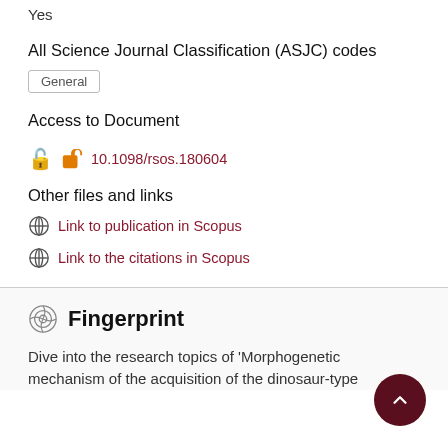Yes
All Science Journal Classification (ASJC) codes
General
Access to Document
10.1098/rsos.180604
Other files and links
Link to publication in Scopus
Link to the citations in Scopus
Fingerprint
Dive into the research topics of 'Morphogenetic mechanism of the acquisition of the dinosaur-type